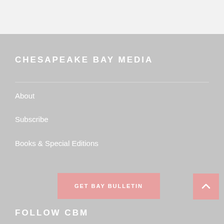CHESAPEAKE BAY MEDIA
About
Subscribe
Books & Special Editions
GET BAY BULLETIN
FOLLOW CBM